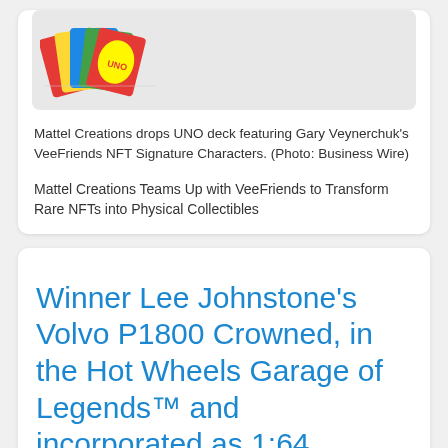[Figure (photo): UNO card deck product photo showing colorful cards fanned out]
Mattel Creations drops UNO deck featuring Gary Veynerchuk's VeeFriends NFT Signature Characters. (Photo: Business Wire)
Mattel Creations Teams Up with VeeFriends to Transform Rare NFTs into Physical Collectibles
Winner Lee Johnstone's Volvo P1800 Crowned, in the Hot Wheels Garage of Legends™ and incorporated as 1:64